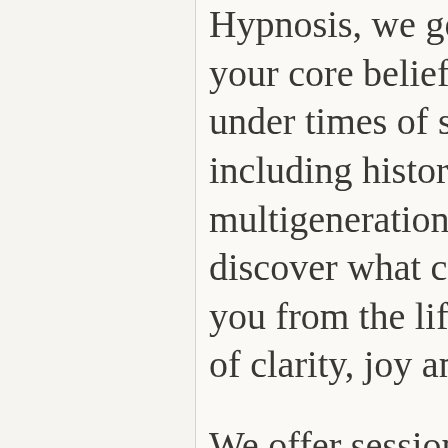Hypnosis, we get to the heart of your core beliefs often formed under times of stress and trauma, including historical and multigenerational trauma to discover what could be keeping you from the life you want to lead of clarity, joy and purpose.
We offer sessions in my Petaluma office and over the phone or internet. I am also available for